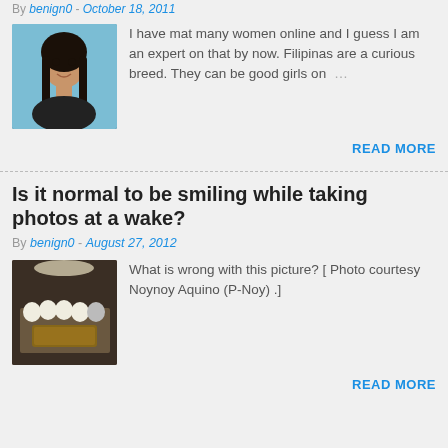By benign0 - October 18, 2011
[Figure (photo): Portrait photo of a young Filipino woman with long black hair against a blue background]
I have mat many women online and I guess I am an expert on that by now. Filipinas are a curious breed. They can be good girls on …
READ MORE
Is it normal to be smiling while taking photos at a wake?
By benign0 - August 27, 2012
[Figure (photo): Group photo of people at a wake, appearing to smile, with a casket visible]
What is wrong with this picture? [ Photo courtesy Noynoy Aquino (P-Noy) .]
READ MORE